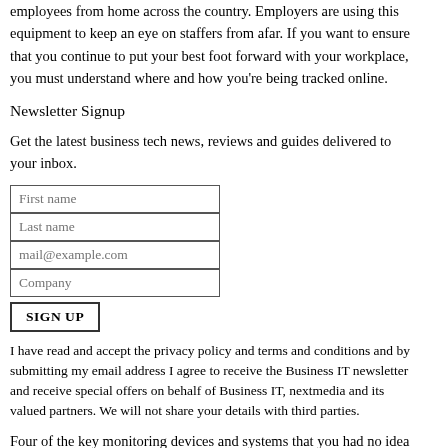employees from home across the country. Employers are using this equipment to keep an eye on staffers from afar. If you want to ensure that you continue to put your best foot forward with your workplace, you must understand where and how you're being tracked online.
Newsletter Signup
Get the latest business tech news, reviews and guides delivered to your inbox.
[Figure (other): Newsletter signup form with fields for First name, Last name, mail@example.com, Company, and a SIGN UP button]
I have read and accept the privacy policy and terms and conditions and by submitting my email address I agree to receive the Business IT newsletter and receive special offers on behalf of Business IT, nextmedia and its valued partners. We will not share your details with third parties.
Four of the key monitoring devices and systems that you had no idea your boss is employing include: